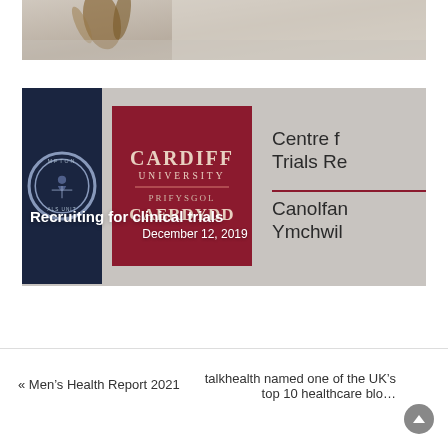[Figure (photo): Top partial image showing dried plant/wheat stalks against a light background, cropped at top of page]
[Figure (photo): Cardiff University clinical trials centre logo image on grey background showing the Cardiff University bilingual logo (Cardiff University / Prifysgol Caerdydd) in dark red box, a circular navy blue unit badge on left, and partial text reading 'Centre f... Trials Re...' and 'Canolfan... Ymchwil...' on grey background]
Recruiting for clinical trials
December 12, 2019
« Men's Health Report 2021
talkhealth named one of the UK's top 10 healthcare blo...